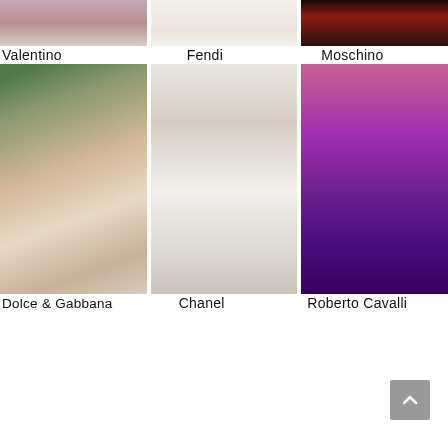[Figure (photo): Partial runway photo - Valentino]
[Figure (photo): Partial runway photo - Fendi]
[Figure (photo): Partial runway photo - Moschino]
Valentino
Fendi
Moschino
[Figure (photo): Fashion runway photo - Dolce & Gabbana, model in pink floral dress]
[Figure (photo): Fashion runway photo - Chanel, model in multicolored tweed coat and dress]
[Figure (photo): Fashion runway photo - Roberto Cavalli, model in pink to purple ombre gown]
Dolce & Gabbana
Chanel
Roberto Cavalli